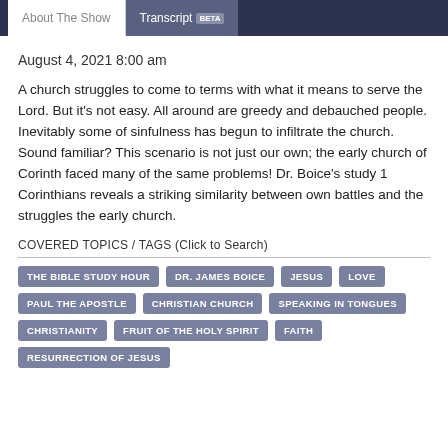About The Show | Transcript BETA
August 4, 2021 8:00 am
A church struggles to come to terms with what it means to serve the Lord. But it's not easy. All around are greedy and debauched people. Inevitably some of sinfulness has begun to infiltrate the church. Sound familiar? This scenario is not just our own; the early church of Corinth faced many of the same problems! Dr. Boice's study 1 Corinthians reveals a striking similarity between own battles and the struggles the early church.
COVERED TOPICS / TAGS (Click to Search)
THE BIBLE STUDY HOUR
DR. JAMES BOICE
JESUS
LOVE
PAUL THE APOSTLE
CHRISTIAN CHURCH
SPEAKING IN TONGUES
CHRISTIANITY
FRUIT OF THE HOLY SPIRIT
FAITH
RESURRECTION OF JESUS